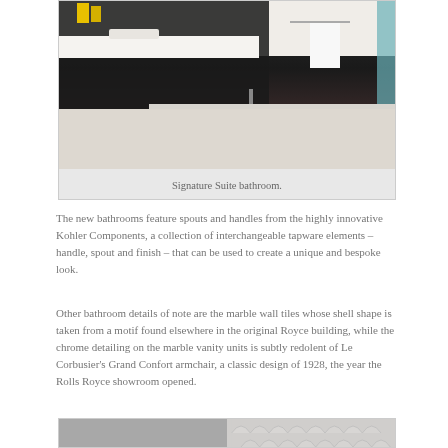[Figure (photo): Photograph of a luxury Signature Suite bathroom showing dark cabinetry with marble countertop, chrome tapware, white towel on rail, teal shower panel, and marble tile floor.]
Signature Suite bathroom.
The new bathrooms feature spouts and handles from the highly innovative Kohler Components, a collection of interchangeable tapware elements – handle, spout and finish – that can be used to create a unique and bespoke look.
Other bathroom details of note are the marble wall tiles whose shell shape is taken from a motif found elsewhere in the original Royce building, while the chrome detailing on the marble vanity units is subtly redolent of Le Corbusier's Grand Confort armchair, a classic design of 1928, the year the Rolls Royce showroom opened.
[Figure (photo): Partial view of bathroom showing marble wall tiles with shell/scallop pattern motif.]